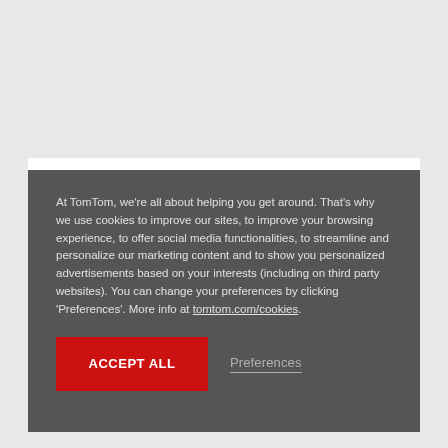At TomTom, we're all about helping you get around. That's why we use cookies to improve our sites, to improve your browsing experience, to offer social media functionalities, to streamline and personalize our marketing content and to show you personalized advertisements based on your interests (including on third party websites). You can change your preferences by clicking 'Preferences'. More info at tomtom.com/cookies.
ACCEPT ALL
Preferences